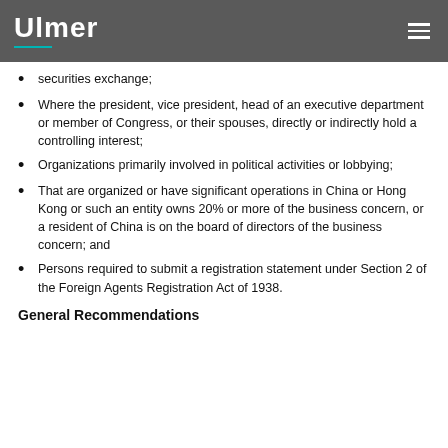Ulmer
securities exchange;
Where the president, vice president, head of an executive department or member of Congress, or their spouses, directly or indirectly hold a controlling interest;
Organizations primarily involved in political activities or lobbying;
That are organized or have significant operations in China or Hong Kong or such an entity owns 20% or more of the business concern, or a resident of China is on the board of directors of the business concern; and
Persons required to submit a registration statement under Section 2 of the Foreign Agents Registration Act of 1938.
General Recommendations